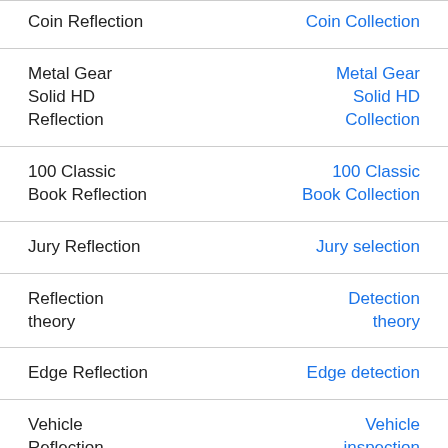| Search term | Result |
| --- | --- |
| Coin Reflection | Coin Collection |
| Metal Gear Solid HD Reflection | Metal Gear Solid HD Collection |
| 100 Classic Book Reflection | 100 Classic Book Collection |
| Jury Reflection | Jury selection |
| Reflection theory | Detection theory |
| Edge Reflection | Edge detection |
| Vehicle Reflection | Vehicle inspection |